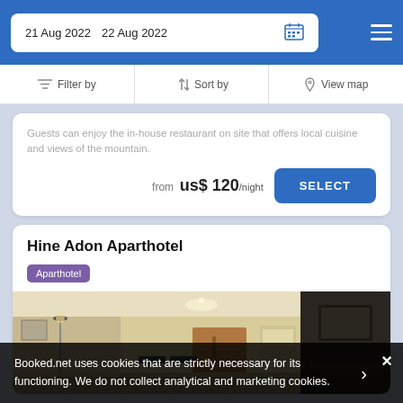21 Aug 2022   22 Aug 2022
Filter by   Sort by   View map
Guests can enjoy the in-house restaurant on site that offers local cuisine and views of the mountain.
from  us$ 120/night   SELECT
Hine Adon Aparthotel
Aparthotel
[Figure (photo): Interior photo of Hine Adon Aparthotel showing a corridor/living area with warm lighting, a floor lamp, kitchen visible in background, and dark furniture.]
Booked.net uses cookies that are strictly necessary for its functioning. We do not collect analytical and marketing cookies.